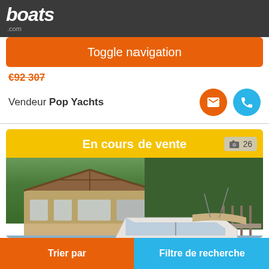boats.com
Toggle navigation
€92 307
Vendeur Pop Yachts
[Figure (photo): A white motorboat/cruiser docked at a marina with a wooden lodge-style building in the background surrounded by trees]
En cours de vente
26 photos
Trier par | Filtre de recherche